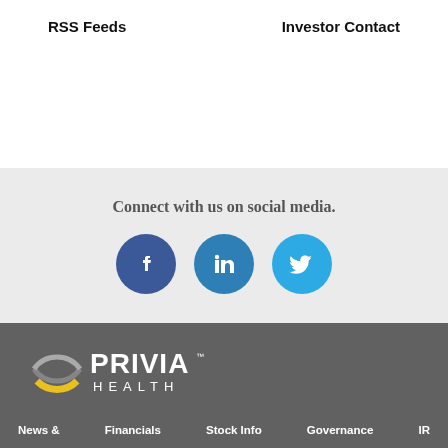RSS Feeds       Investor Contact
Connect with us on social media.
[Figure (infographic): Three circular social media icons: Facebook (dark blue), LinkedIn (medium blue), Twitter (light blue)]
[Figure (logo): Privia Health logo: circular yellow/gold arc symbol on left, white text PRIVIA HEALTH on right, on dark gray background]
News &    Financials    Stock Info    Governance    IR